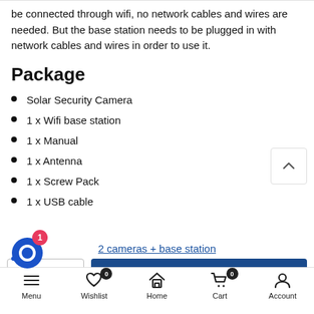be connected through wifi, no network cables and wires are needed. But the base station needs to be plugged in with network cables and wires in order to use it.
Package
Solar Security Camera
1 x Wifi base station
1 x Manual
1 x Antenna
1 x Screw Pack
1 x USB cable
2 cameras + base station
Menu  Wishlist  Home  Cart  Account